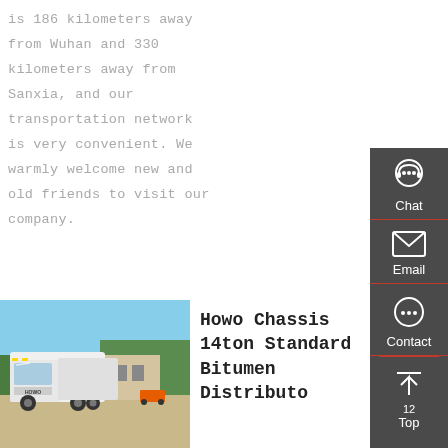is 186 kilometers away from Wuhan and 330 kilometers away from Sanxia, and our transportation network is very convenient. We warmly welcome new and old friends to visit our company.
Get a Quote
[Figure (photo): Front view of a white Howo truck (SINOTRUK) parked in a yard with trees and buildings in the background.]
Howo Chassis 14ton Standard Bitumen Distributor
[Figure (infographic): Right sidebar with dark grey background showing Chat, Email, Contact, and Top navigation icons in white.]